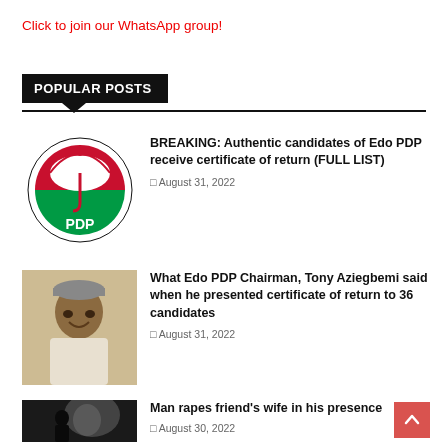Click to join our WhatsApp group!
POPULAR POSTS
[Figure (logo): PDP (Peoples Democratic Party) logo — red, green, white umbrella emblem with 'PDP' text]
BREAKING: Authentic candidates of Edo PDP receive certificate of return (FULL LIST)
August 31, 2022
[Figure (photo): Portrait photo of a man, Tony Aziegbemi, wearing a cap and smiling]
What Edo PDP Chairman, Tony Aziegbemi said when he presented certificate of return to 36 candidates
August 31, 2022
[Figure (photo): Dark, dramatic photo of a shadowy figure]
Man rapes friend's wife in his presence
August 30, 2022